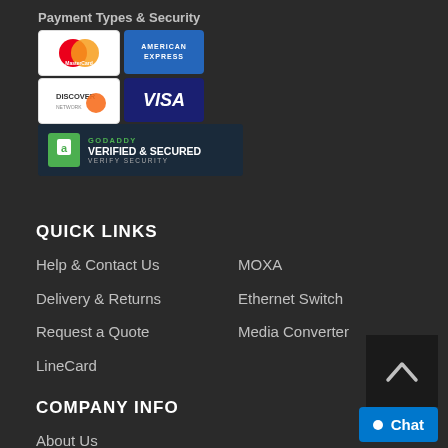Payment Types & Security
[Figure (logo): Payment card logos: Mastercard, American Express, Discover, Visa]
[Figure (logo): GoDaddy Verified & Secured badge]
QUICK LINKS
Help & Contact Us
Delivery & Returns
Request a Quote
LineCard
MOXA
Ethernet Switch
Media Converter
COMPANY INFO
About Us